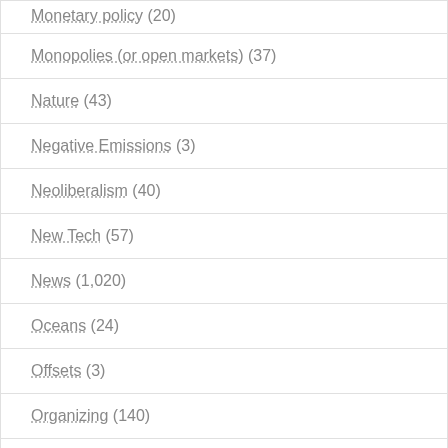Monetary policy (20)
Monopolies (or open markets) (37)
Nature (43)
Negative Emissions (3)
Neoliberalism (40)
New Tech (57)
News (1,020)
Oceans (24)
Offsets (3)
Organizing (140)
Ownership (36)